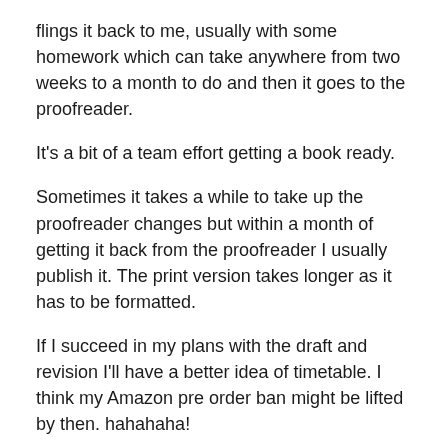flings it back to me, usually with some homework which can take anywhere from two weeks to a month to do and then it goes to the proofreader.
It's a bit of a team effort getting a book ready.
Sometimes it takes a while to take up the proofreader changes but within a month of getting it back from the proofreader I usually publish it. The print version takes longer as it has to be formatted.
If I succeed in my plans with the draft and revision I'll have a better idea of timetable. I think my Amazon pre order ban might be lifted by then. hahahaha!
So if I don't come back with a year in review blog post or my plans for 2018 before New year. Happy New Year!